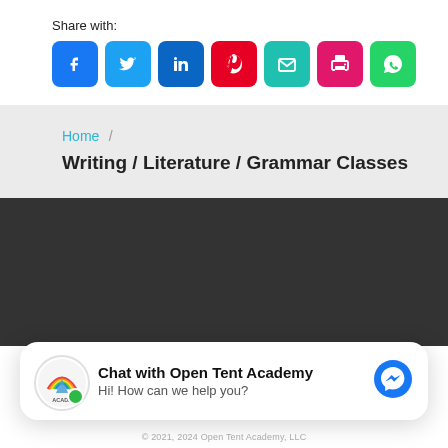Share with:
[Figure (screenshot): Row of social share buttons: Facebook, Twitter, LinkedIn, Pinterest, Email, Print, WhatsApp]
Home / Writing / Literature / Grammar Classes
[Figure (other): Dark background section]
Chat with Open Tent Academy
Hi! How can we help you?
© 2021, 2024 Open Tent Academy, LLC